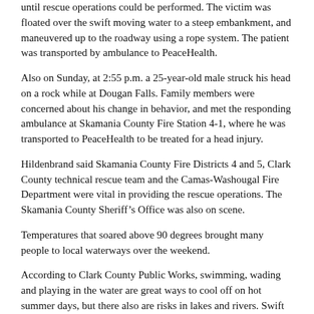until rescue operations could be performed. The victim was floated over the swift moving water to a steep embankment, and maneuvered up to the roadway using a rope system. The patient was transported by ambulance to PeaceHealth.
Also on Sunday, at 2:55 p.m. a 25-year-old male struck his head on a rock while at Dougan Falls. Family members were concerned about his change in behavior, and met the responding ambulance at Skamania County Fire Station 4-1, where he was transported to PeaceHealth to be treated for a head injury.
Hildenbrand said Skamania County Fire Districts 4 and 5, Clark County technical rescue team and the Camas-Washougal Fire Department were vital in providing the rescue operations. The Skamania County Sheriff’s Office was also on scene.
Temperatures that soared above 90 degrees brought many people to local waterways over the weekend.
According to Clark County Public Works, swimming, wading and playing in the water are great ways to cool off on hot summer days, but there also are risks in lakes and rivers. Swift currents, abrupt drop-offs and cold water all create dangers, even for experienced swimmers.
According to the Centers for Disease Control and Prevention, 43 percent of drowning occurs in lakes, ponds and rivers, and the leading cause...